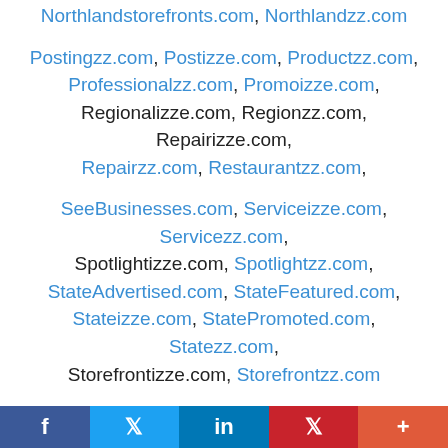Northlandstorefronts.com, Northlandzz.com, Postingzz.com, Postizze.com, Productzz.com, Professionalzz.com, Promoizze.com, Regionalizze.com, Regionzz.com, Repairizze.com, Repairzz.com, Restaurantzz.com, SeeBusinesses.com, Serviceizze.com, Servicezz.com, Spotlightizze.com, Spotlightzz.com, StateAdvertised.com, StateFeatured.com, Stateizze.com, StatePromoted.com, Statezz.com, Storefrontizze.com, Storefrontzz.com, Todayizze.com, USAAdvertised.com, USAAnnounced.com, USABrowsed.com, USABundled.com,
f  t  in  P  +